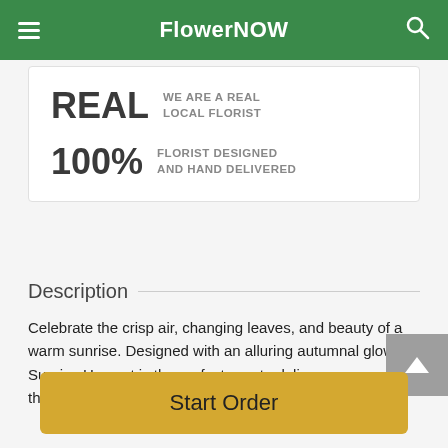FlowerNOW
REAL WE ARE A REAL LOCAL FLORIST
100% FLORIST DESIGNED AND HAND DELIVERED
Description
Celebrate the crisp air, changing leaves, and beauty of a warm sunrise. Designed with an alluring autumnal glow Sunrise Harvest is the perfect way to deliver warm thoughts, boost their mood, and make their day.
Start Order